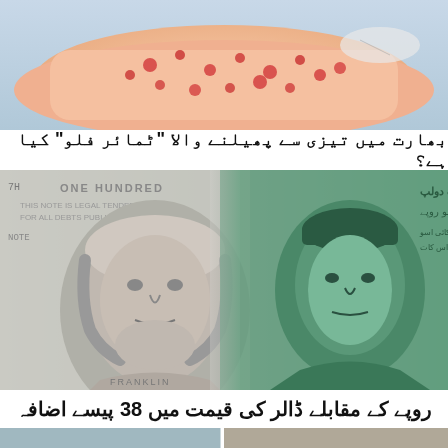[Figure (photo): Close-up photo of a baby's arm and body with red spots/rash (chickenpox or similar rash)]
بھارت میں تیزی سے پھیلنے والا "ٹمائر فلو" کیا ہے؟
[Figure (photo): Composite image showing US 100 dollar bill (Benjamin Franklin) on the left and Pakistani rupee currency note (Jinnah portrait) on the right]
روپے کے مقابلے ڈالر کی قیمت میں 38 پیسے اضافہ
[Figure (photo): Partial image at the bottom of the page, two photos side by side (partially visible)]